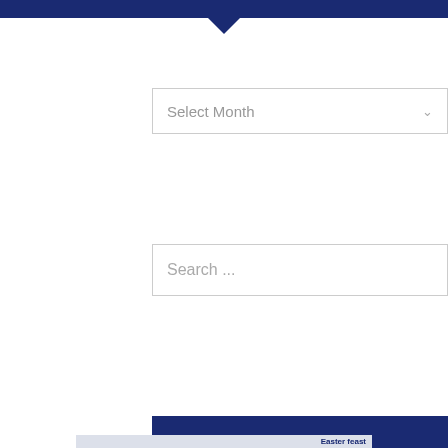[Figure (screenshot): Dark navy blue top bar with downward pointing triangle/arrow below it]
Select Month
Search ...
Instagram
Follow on Instagram
As Seen In
[Figure (screenshot): Partial image at bottom showing decorative letter and text 'Easter feast']